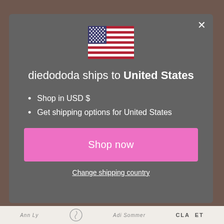[Figure (screenshot): Modal dialog on website diedododa.com showing a shipping country confirmation popup with US flag, text, bullet points, and buttons]
diedododa ships to United States
Shop in USD $
Get shipping options for United States
Shop now
Change shipping country